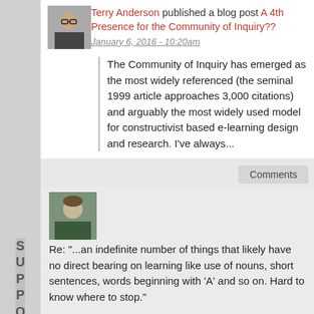[Figure (photo): Profile photo of Terry Anderson (man with glasses)]
Terry Anderson published a blog post A 4th Presence for the Community of Inquiry?? January 6, 2016 - 10:20am
The Community of Inquiry has emerged as the most widely referenced (the seminal 1999 article approaches 3,000 citations) and arguably the most widely used model for constructivist based e-learning design and research. I've always...
Comments
[Figure (photo): Profile photo of a commenter (person with short hair)]
Re: "...an indefinite number of things that likely have no direct bearing on learning like use of nouns, short sentences, words beginning with 'A' and so on. Hard to know where to stop."
Interesting...
As an educator of English as a Second Language, I had to single out the statement above.  I would need more time to comment on it.
Regarding the sets/subsets mentioned, I find that as (human) agents with the capacity to consciously and